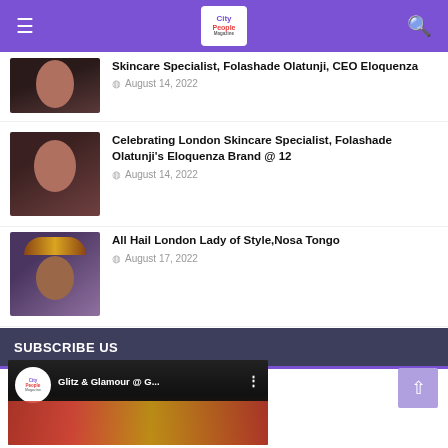City People Magazine
[Figure (photo): Partial photo of a woman, portrait style, clipped at top]
Skincare Specialist, Folashade Olatunji, CEO Eloquenza
August 14, 2022
[Figure (photo): Portrait photo of a woman with curly hair]
Celebrating London Skincare Specialist, Folashade Olatunji's Eloquenza Brand @ 12
August 14, 2022
[Figure (photo): Portrait photo of a woman wearing a gele headwrap and traditional attire]
All Hail London Lady of Style,Nosa Tongo
August 17, 2022
SUBSCRIBE US
[Figure (screenshot): YouTube video thumbnail for 'Glitz & Glamour @ G...' with City People Magazine logo]